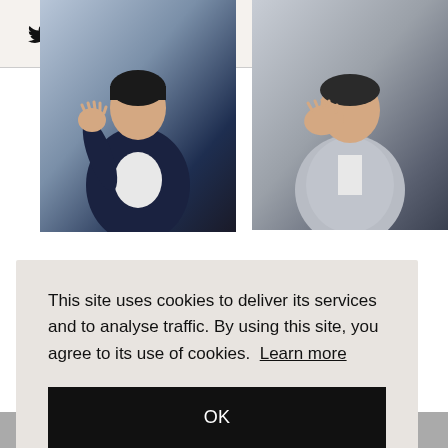Social media icons (Twitter, Instagram, YouTube, Email, Search) and hamburger menu
[Figure (photo): Korean male celebrity in navy blazer and white shirt, waving at camera, against dark background]
[Figure (photo): Person in light grey suit with hand raised near face, against dark background]
This site uses cookies to deliver its services and to analyse traffic. By using this site, you agree to its use of cookies. Learn more
OK